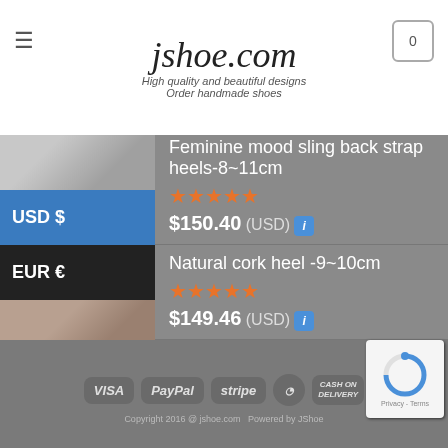jshoe.com — High quality and beautiful designs. Order handmade shoes
Feminine mood sling back strap heels-8~11cm
★★★★★ $150.40 (USD)
Natural cork heel -9~10cm
★★★★★ $149.46 (USD)
Cutout Platform Bootie-13/14cm
★★★★★ $196.46 (USD)
USD $
EUR €
GBP £
CAD $
AUD $
VISA PayPal stripe MasterCard CASH ON DELIVERY | Copyright 2016 @ jshoe.com